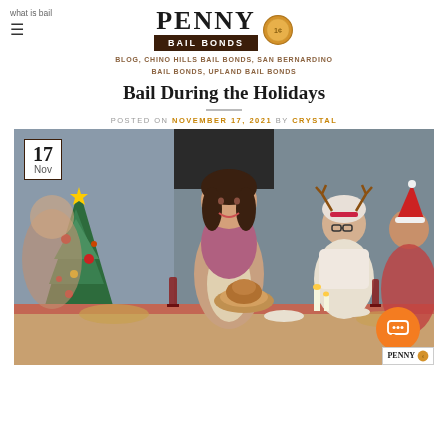what is bail
[Figure (logo): Penny Bail Bonds logo with coin graphic]
BLOG, CHINO HILLS BAIL BONDS, SAN BERNARDINO BAIL BONDS, UPLAND BAIL BONDS
Bail During the Holidays
POSTED ON NOVEMBER 17, 2021 BY CRYSTAL
[Figure (photo): Holiday family dinner scene with woman serving turkey, family members wearing Christmas hats and reindeer antlers, Christmas tree in background. Date badge showing '17 Nov' in top left corner. Penny Bail Bonds watermark in bottom right.]